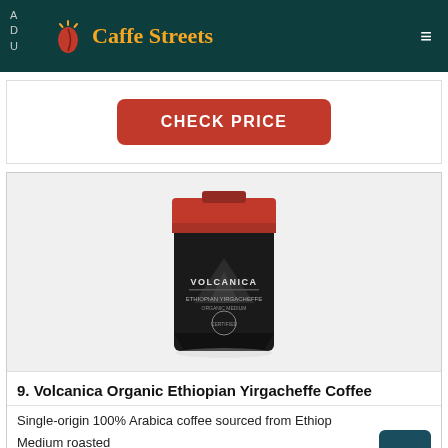Caffe Streets
[Figure (screenshot): Red CHECK PRICE button]
[Figure (photo): Volcanica Ethiopian Yirgacheffe Coffee bag - black and red packaging]
9. Volcanica Organic Ethiopian Yirgacheffe Coffee
Single-origin 100% Arabica coffee sourced from Ethiop...
Medium roasted
Fair Trade certified